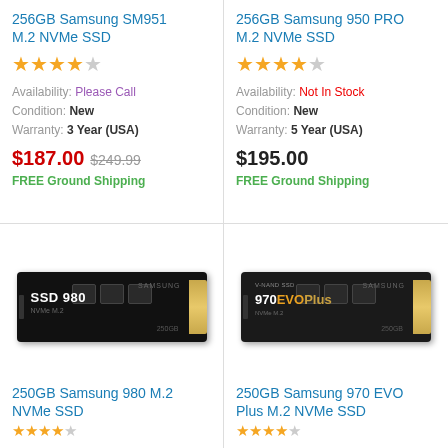256GB Samsung SM951 M.2 NVMe SSD
[Figure (other): Star rating: 4 out of 5 stars]
Availability: Please Call
Condition: New
Warranty: 3 Year (USA)
$187.00 $249.99
FREE Ground Shipping
256GB Samsung 950 PRO M.2 NVMe SSD
[Figure (other): Star rating: 4 out of 5 stars]
Availability: Not In Stock
Condition: New
Warranty: 5 Year (USA)
$195.00
FREE Ground Shipping
[Figure (photo): Samsung SSD 980 M.2 NVMe SSD drive, black PCB with gold connector]
250GB Samsung 980 M.2 NVMe SSD
[Figure (other): Star rating (partial)]
[Figure (photo): Samsung 970 EVO Plus M.2 NVMe SSD drive, black PCB with gold connector]
250GB Samsung 970 EVO Plus M.2 NVMe SSD
[Figure (other): Star rating (partial)]